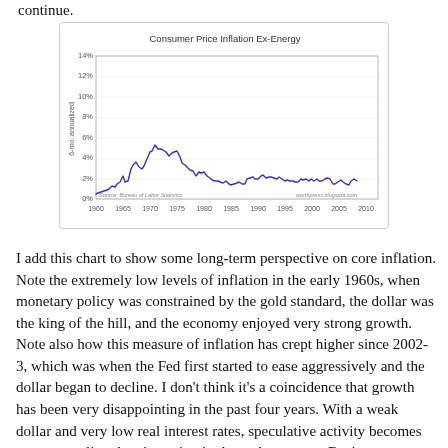continue.
[Figure (continuous-plot): Line chart showing Consumer Price Inflation Ex-Energy from 1960 to 2012. Values start very low near 0-1% in early 1960s, rise to peaks around 12-13% in 1975 and again near 13% in 1980, then decline steadily through the 1980s and 1990s, stabilizing around 2-3% from 1995 onward with a slight uptick after 2009.]
I add this chart to show some long-term perspective on core inflation. Note the extremely low levels of inflation in the early 1960s, when monetary policy was constrained by the gold standard, the dollar was the king of the hill, and the economy enjoyed very strong growth. Note also how this measure of inflation has crept higher since 2002-3, which was when the Fed first started to ease aggressively and the dollar began to decline. I don't think it's a coincidence that growth has been very disappointing in the past four years. With a weak dollar and very low real interest rates, speculative activity becomes more appealing than investing in the real economy. Business